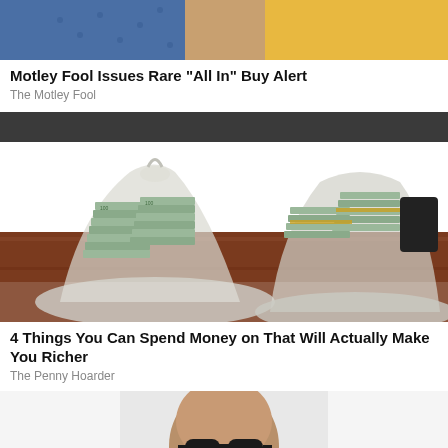[Figure (photo): Partial cropped photo showing two people in blue and yellow clothing]
Motley Fool Issues Rare "All In" Buy Alert
The Motley Fool
[Figure (photo): Two large bags of bundled $100 bills stacked on a wooden table]
4 Things You Can Spend Money on That Will Actually Make You Richer
The Penny Hoarder
[Figure (photo): Bald man wearing sunglasses, partial photo at bottom of page]